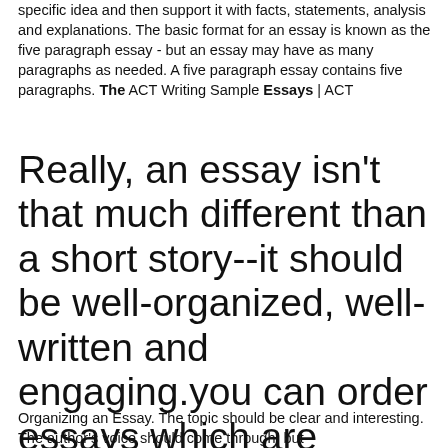specific idea and then support it with facts, statements, analysis and explanations. The basic format for an essay is known as the five paragraph essay - but an essay may have as many paragraphs as needed. A five paragraph essay contains five paragraphs. The ACT Writing Sample Essays | ACT
Really, an essay isn't that much different than a short story--it should be well-organized, well-written and engaging.you can order essays which are plagiarism free.
Organizing an Essay. The topic should be clear and interesting. The author's voice should come through, but